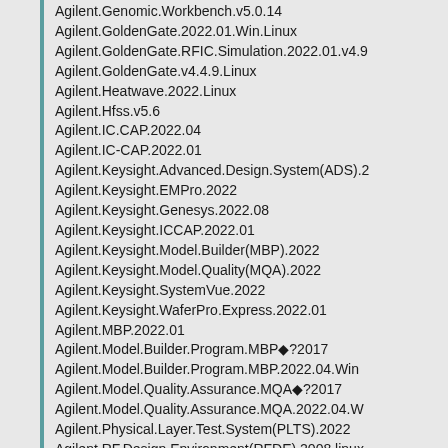Agilent.Genomic.Workbench.v5.0.14
Agilent.GoldenGate.2022.01.Win.Linux
Agilent.GoldenGate.RFIC.Simulation.2022.01.v4.9
Agilent.GoldenGate.v4.4.9.Linux
Agilent.Heatwave.2022.Linux
Agilent.Hfss.v5.6
Agilent.IC.CAP.2022.04
Agilent.IC-CAP.2022.01
Agilent.Keysight.Advanced.Design.System(ADS).2
Agilent.Keysight.EMPro.2022
Agilent.Keysight.Genesys.2022.08
Agilent.Keysight.ICCAP.2022.01
Agilent.Keysight.Model.Builder(MBP).2022
Agilent.Keysight.Model.Quality(MQA).2022
Agilent.Keysight.SystemVue.2022
Agilent.Keysight.WaferPro.Express.2022.01
Agilent.MBP.2022.01
Agilent.Model.Builder.Program.MBP◆?2017
Agilent.Model.Builder.Program.MBP.2022.04.Win
Agilent.Model.Quality.Assurance.MQA◆?2017
Agilent.Model.Quality.Assurance.MQA.2022.04.W
Agilent.Physical.Layer.Test.System(PLTS).2022
Agilent.RF.Design.Environment(RFDE).2008.linux
Agilent.RF.Design.Environment.RFDE).2008.linux
Agilent.RFDE2004A.Linux